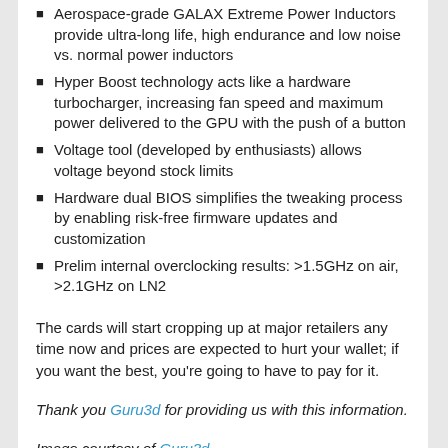Aerospace-grade GALAX Extreme Power Inductors provide ultra-long life, high endurance and low noise vs. normal power inductors
Hyper Boost technology acts like a hardware turbocharger, increasing fan speed and maximum power delivered to the GPU with the push of a button
Voltage tool (developed by enthusiasts) allows voltage beyond stock limits
Hardware dual BIOS simplifies the tweaking process by enabling risk-free firmware updates and customization
Prelim internal overclocking results: >1.5GHz on air, >2.1GHz on LN2
The cards will start cropping up at major retailers any time now and prices are expected to hurt your wallet; if you want the best, you're going to have to pay for it.
Thank you Guru3d for providing us with this information.
Image courtesy of Guru3d.